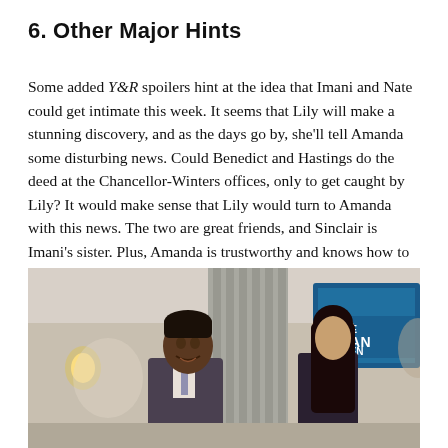6. Other Major Hints
Some added Y&R spoilers hint at the idea that Imani and Nate could get intimate this week. It seems that Lily will make a stunning discovery, and as the days go by, she’ll tell Amanda some disturbing news. Could Benedict and Hastings do the deed at the Chancellor-Winters offices, only to get caught by Lily? It would make sense that Lily would turn to Amanda with this news. The two are great friends, and Sinclair is Imani’s sister. Plus, Amanda is trustworthy and knows how to handle any situation the “right” way.
[Figure (photo): Two people, a man in a suit and a woman with long dark hair, smiling and conversing indoors near a sign reading 'THE GRAND PHOENIX'.]